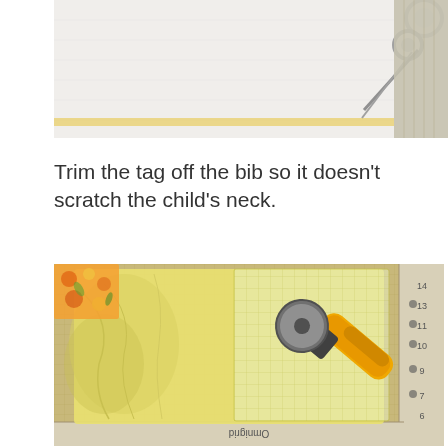[Figure (photo): Top portion of a white towel/bib with scissors visible in the upper right corner, on a cutting mat surface.]
Trim the tag off the bib so it doesn't scratch the child's neck.
[Figure (photo): Yellow fabric/t-shirt laid on an Omnigrid cutting mat with a transparent quilting ruler and a yellow-handled rotary cutter on top. Floral fabric visible at top left.]